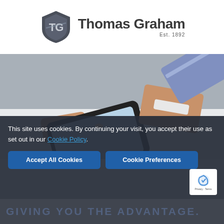Thomas Graham Est. 1892
[Figure (photo): Person touching a smartphone screen with one hand and holding a credit card in the other hand on a white table surface]
This site uses cookies. By continuing your visit, you accept their use as set out in our Cookie Policy.
Accept All Cookies | Cookie Preferences
GIVING YOU THE ADVANTAGE.